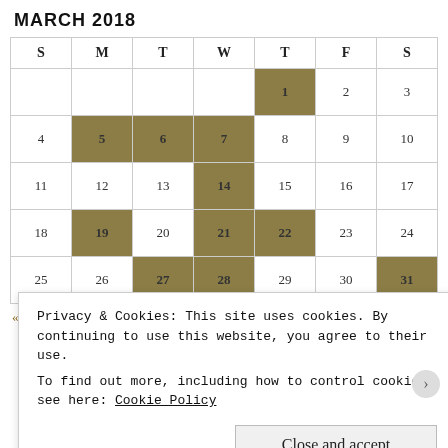MARCH 2018
| S | M | T | W | T | F | S |
| --- | --- | --- | --- | --- | --- | --- |
|  |  |  |  | 1 | 2 | 3 |
| 4 | 5 | 6 | 7 | 8 | 9 | 10 |
| 11 | 12 | 13 | 14 | 15 | 16 | 17 |
| 18 | 19 | 20 | 21 | 22 | 23 | 24 |
| 25 | 26 | 27 | 28 | 29 | 30 | 31 |
« Feb    Apr »
Advertisements
Privacy & Cookies: This site uses cookies. By continuing to use this website, you agree to their use.
To find out more, including how to control cookies, see here: Cookie Policy
Close and accept